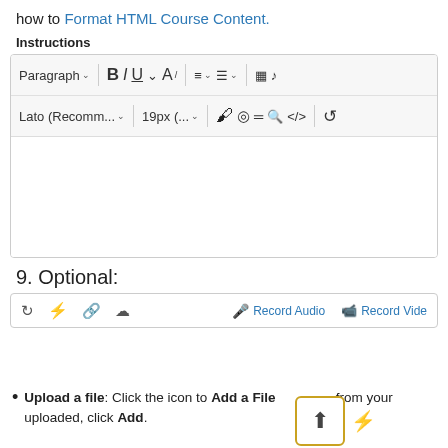how to Format HTML Course Content.
Instructions
[Figure (screenshot): Rich text editor toolbar with formatting options: Paragraph dropdown, Bold, Italic, Underline, strikethrough, text color, alignment, list, and other icons. Second row: Lato font dropdown, 19px size dropdown, paint bucket, eye, lines, search, code, undo icons. Below is empty white editor body area.]
9. Optional:
[Figure (screenshot): Media toolbar with icons for sync, lightning, link, cloud upload on left side; Record Audio and Record Video buttons (blue) on right side.]
[Figure (screenshot): File Upload tooltip showing an upload icon in a yellow-bordered box with a lightning bolt icon next to it, and a dark tooltip label reading 'File Upload'.]
Upload a file: Click the icon to Add a File from your [computer]. Once uploaded, click Add.
[Figure (screenshot): Add a File dialog box with an X close button.]